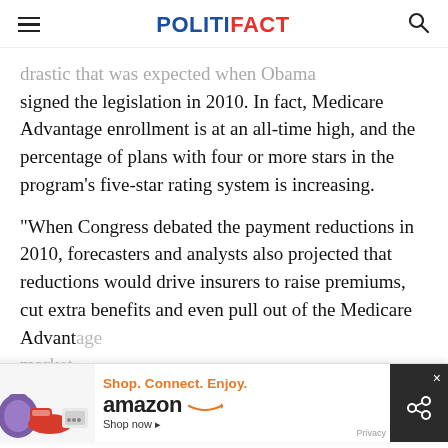POLITIFACT
...drastic that was expected when Obama signed the legislation in 2010. In fact, Medicare Advantage enrollment is at an all-time high, and the percentage of plans with four or more stars in the program’s five-star rating system is increasing.
"When Congress debated the payment reductions in 2010, forecasters and analysts also projected that reductions would drive insurers to raise premiums, cut extra benefits and even pull out of the Medicare Advantage market...
[Figure (other): Amazon advertisement banner: Shop. Connect. Enjoy. amazon Shop now]